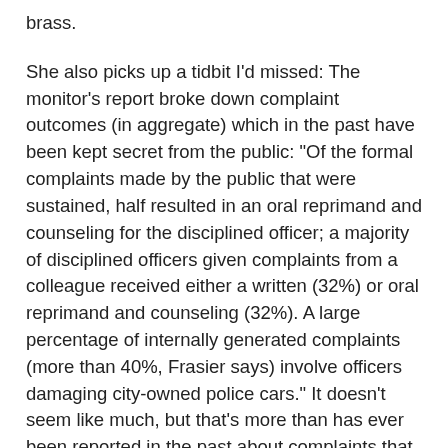brass.
She also picks up a tidbit I'd missed: The monitor's report broke down complaint outcomes (in aggregate) which in the past have been kept secret from the public: "Of the formal complaints made by the public that were sustained, half resulted in an oral reprimand and counseling for the disciplined officer; a majority of disciplined officers given complaints from a colleague received either a written (32%) or oral reprimand and counseling (32%). A large percentage of internally generated complaints (more than 40%, Frasier says) involve officers damaging city-owned police cars." It doesn't seem like much, but that's more than has ever been reported in the past about complaints that do not result in more serious punishment.
Nothing too earth shattering in the report - either Frasier's or Smith's - but it's great to see the Austin Police Monitor's office really ascending to relevancy for the first time under Frasier's leadership. Years ago I helped create a political action committee called the Sunshine Project for Police Accountability that campaigned throughout the late '90s in